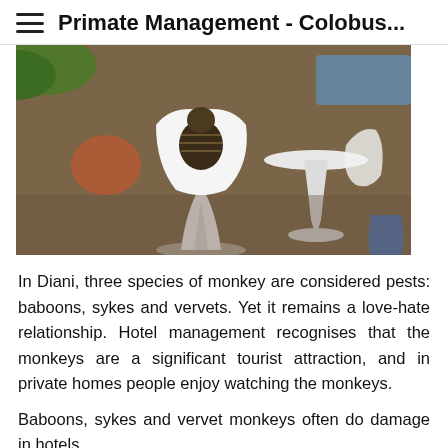Primate Management - Colobus...
[Figure (photo): A colobus monkey sitting in a white tulip-style chair at an outdoor restaurant or cafe setting, with another white tulip chair and table visible beside it. The background shows brown paving stones, green grass/foliage, and a blue object on the right.]
In Diani, three species of monkey are considered pests: baboons, sykes and vervets. Yet it remains a love-hate relationship. Hotel management recognises that the monkeys are a significant tourist attraction, and in private homes people enjoy watching the monkeys.
Baboons, sykes and vervet monkeys often do damage in hotels